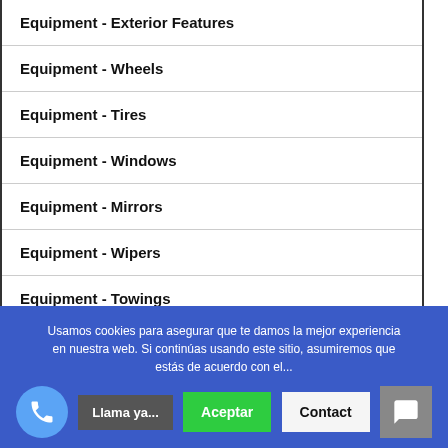Equipment - Exterior Features
Equipment - Wheels
Equipment - Tires
Equipment - Windows
Equipment - Mirrors
Equipment - Wipers
Equipment - Towings
Usamos cookies para asegurar que te damos la mejor experiencia en nuestra web. Si continúas usando este sitio, asumiremos que estás de acuerdo con el...
Llama ya...  Aceptar  Contact